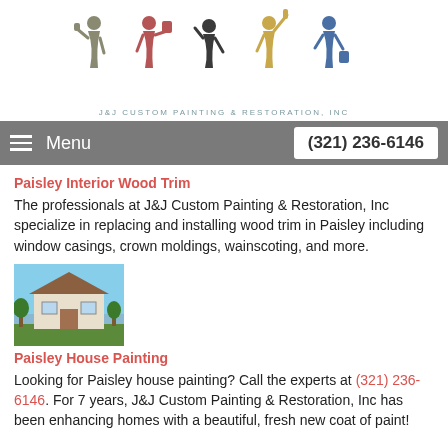[Figure (logo): J&J Custom Painting & Restoration, Inc logo with five painter silhouettes in grey, red, dark, gold, and blue colors, with company name below]
Menu  (321) 236-6146
Paisley Interior Wood Trim
The professionals at J&J Custom Painting & Restoration, Inc specialize in replacing and installing wood trim in Paisley including window casings, crown moldings, wainscoting, and more.
[Figure (photo): Small thumbnail photo of a house exterior]
Paisley House Painting
Looking for Paisley house painting? Call the experts at (321) 236-6146. For 7 years, J&J Custom Painting & Restoration, Inc has been enhancing homes with a beautiful, fresh new coat of paint!